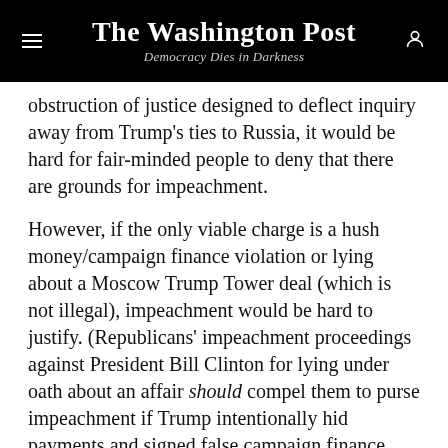The Washington Post — Democracy Dies in Darkness
obstruction of justice designed to deflect inquiry away from Trump's ties to Russia, it would be hard for fair-minded people to deny that there are grounds for impeachment.
However, if the only viable charge is a hush money/campaign finance violation or lying about a Moscow Trump Tower deal (which is not illegal), impeachment would be hard to justify. (Republicans' impeachment proceedings against President Bill Clinton for lying under oath about an affair should compel them to purse impeachment if Trump intentionally hid payments and signed false campaign finance documents under penalty of perjury.